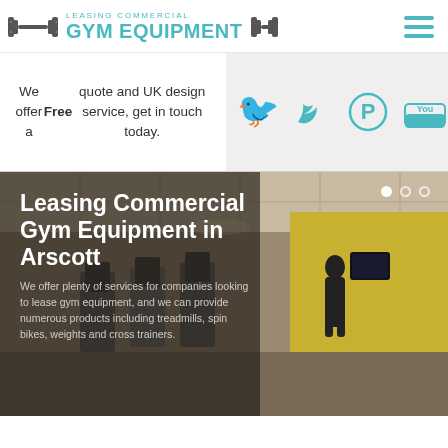LEASING COMMERCIAL GYM EQUIPMENT
We offer a Free quote and UK design service, get in touch today.
[Figure (logo): Social media icons: Twitter, Pinterest, YouTube, Tumblr in teal color on light grey background]
[Figure (photo): Gym interior with treadmills and exercise equipment, yellow wall, people working out]
Leasing Commercial Gym Equipment in Arscott
We offer plenty of services for companies looking to lease gym equipment, and we can provide numerous products including treadmills, spin bikes, weights and cross trainers.